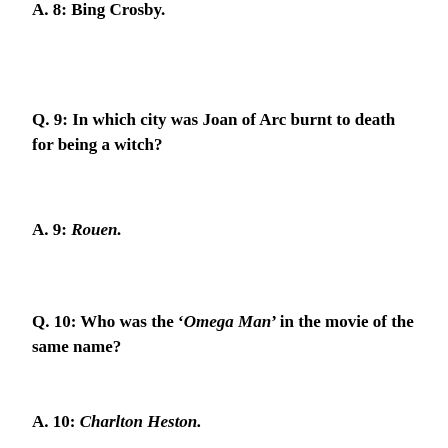A. 8: Bing Crosby.
Q. 9: In which city was Joan of Arc burnt to death for being a witch?
A. 9: Rouen.
Q. 10: Who was the ‘Omega Man’ in the movie of the same name?
A. 10: Charlton Heston.